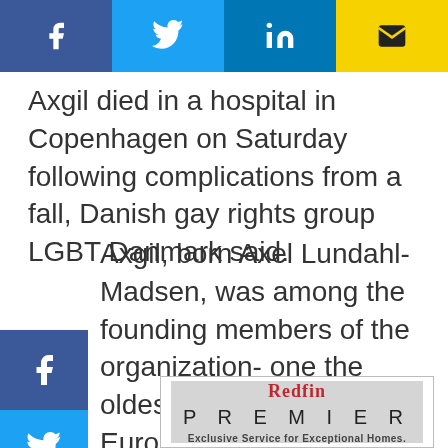[Figure (other): Social media share buttons bar: Facebook (blue), Twitter (blue), LinkedIn (blue), Email (yellow)]
Axgil died in a hospital in Copenhagen on Saturday following complications from a fall, Danish gay rights group LGBT Danmark said.
Axgil, born Axel Lundahl-Madsen, was among the founding members of the organization- one the oldest gay rights groups in Europe- in 48.
[Figure (other): Left side floating social share icons: Facebook, Twitter, LinkedIn]
[Figure (logo): Redfin Premier advertisement: REDFIN PREMIER - Exclusive Service for Exceptional Homes.]